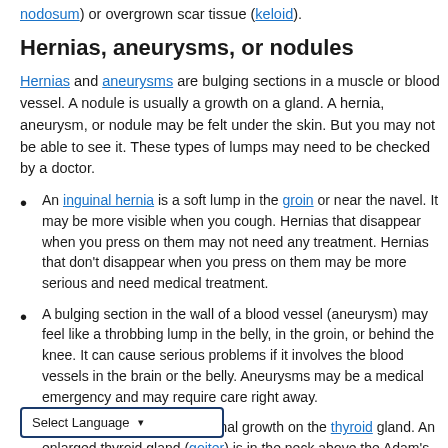nodosum) or overgrown scar tissue (keloid).
Hernias, aneurysms, or nodules
Hernias and aneurysms are bulging sections in a muscle or blood vessel. A nodule is usually a growth on a gland. A hernia, aneurysm, or nodule may be felt under the skin. But you may not be able to see it. These types of lumps may need to be checked by a doctor.
An inguinal hernia is a soft lump in the groin or near the navel. It may be more visible when you cough. Hernias that disappear when you press on them may not need any treatment. Hernias that don't disappear when you press on them may be more serious and need medical treatment.
A bulging section in the wall of a blood vessel (aneurysm) may feel like a throbbing lump in the belly, in the groin, or behind the knee. It can cause serious problems if it involves the blood vessels in the brain or the belly. Aneurysms may be a medical emergency and may require care right away.
A thyroid nodule is an abnormal growth on the thyroid gland. An enlarged thyroid gland (goiter) is in the neck above the Adam's apple.